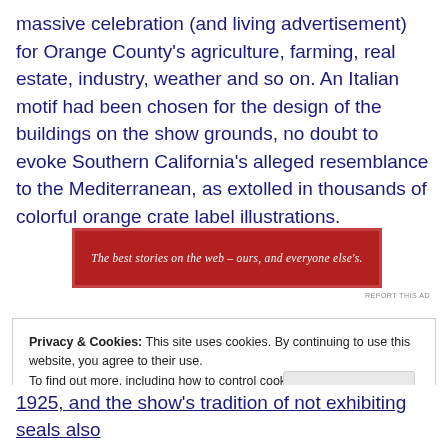massive celebration (and living advertisement) for Orange County's agriculture, farming, real estate, industry, weather and so on. An Italian motif had been chosen for the design of the buildings on the show grounds, no doubt to evoke Southern California's alleged resemblance to the Mediterranean, as extolled in thousands of colorful orange crate label illustrations.
[Figure (other): Red advertisement banner with white italic text: 'The best stories on the web – ours, and everyone else's.' with a small 'REPORT THIS AD' label below.]
Privacy & Cookies: This site uses cookies. By continuing to use this website, you agree to their use.
To find out more, including how to control cookies, see here: Cookie Policy
1925, and the show's tradition of not exhibiting seals also